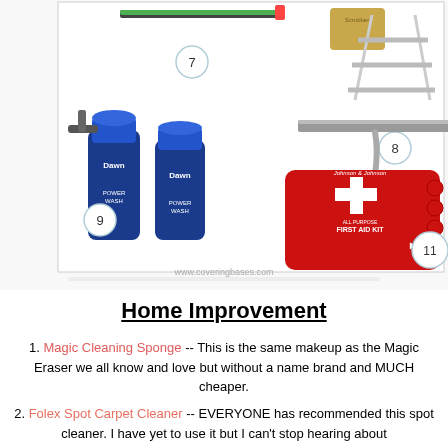[Figure (photo): Collage of home improvement and cleaning products numbered 7-11: a squeegee/window wiper (7), a gold/metallic cleaning pad, a step ladder (8), two Dawn Powerwash spray bottles (9), a metal shower squeegee (10), and a Johnson & Johnson All-Purpose First Aid Kit 140 piece (11). Website watermark: www.coveringbases.com]
Home Improvement
1. Magic Cleaning Sponge -- This is the same makeup as the Magic Eraser we all know and love but without a name brand and MUCH cheaper.
2. Folex Spot Carpet Cleaner -- EVERYONE has recommended this spot cleaner. I have yet to use it but I can't stop hearing about